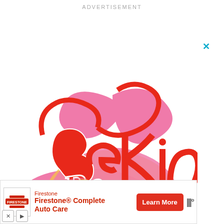ADVERTISEMENT
[Figure (illustration): Decorative typographic illustration of the phrase 'Be Kind' in ornate red cursive lettering with pink and yellow layered shadow effects in a retro style]
[Figure (screenshot): Gray placeholder content area below the Be Kind illustration, with a teal/green scroll-to-top arrow button on the right side]
[Figure (infographic): Firestone advertisement banner at the bottom showing Firestone logo, text 'Firestone Complete Auto Care', a red Learn More button, and a weather widget icon]